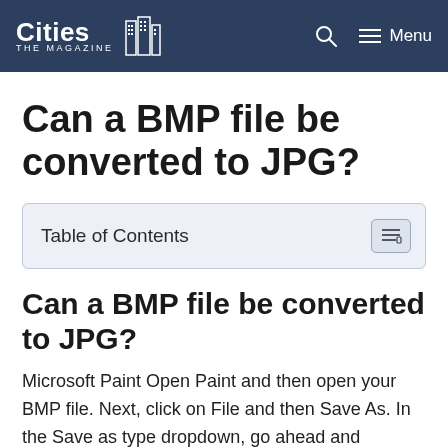Cities THE MAGAZINE  [search icon]  Menu
Can a BMP file be converted to JPG?
| Table of Contents |
| --- |
Can a BMP file be converted to JPG?
Microsoft Paint Open Paint and then open your BMP file. Next, click on File and then Save As. In the Save as type dropdown, go ahead and